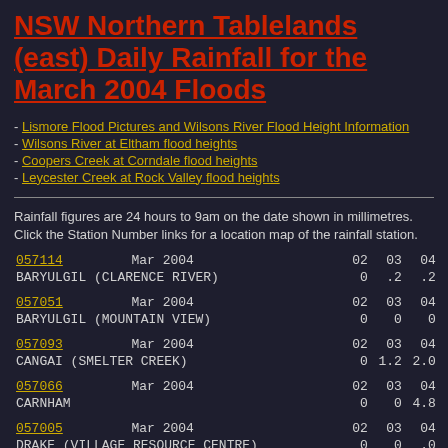NSW Northern Tablelands (east) Daily Rainfall for the March 2004 Floods
- Lismore Flood Pictures and Wilsons River Flood Height Information
- Wilsons River at Eltham flood heights
- Coopers Creek at Corndale flood heights
- Leycester Creek at Rock Valley flood heights
Rainfall figures are 24 hours to 9am on the date shown in millimetres. Click the Station Number links for a location map of the rainfall station.
| Station | Period | 02 | 03 | 04 |
| --- | --- | --- | --- | --- |
| 057114 | Mar 2004 | 02 | 03 | 04 |
| BARYULGIL (CLARENCE RIVER) |  | 0 | .2 | .2 |
| 057051 | Mar 2004 | 02 | 03 | 04 |
| BARYULGIL (MOUNTAIN VIEW) |  | 0 | 0 | 0 |
| 057093 | Mar 2004 | 02 | 03 | 04 |
| CANGAI (SMELTER CREEK) |  | 0 | 1.2 | 2.0 |
| 057066 | Mar 2004 | 02 | 03 | 04 |
| CARNHAM |  | 0 | 0 | 4.8 |
| 057005 | Mar 2004 | 02 | 03 | 04 |
| DRAKE (VILLAGE RESOURCE CENTRE) |  | 0 | 0 | .0 |